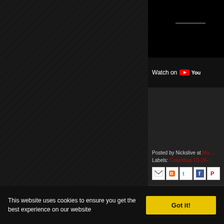[Figure (screenshot): YouTube embedded video player showing dark screen with 'Watch on YouTube' bar at the bottom]
Posted by Nickslive at Mo...
Labels: Columbus 10-19-...
[Figure (other): Social sharing icons: Email, Blogger, Twitter, Facebook, Pinterest]
Newer Posts
This website uses cookies to ensure you get the best experience on our website